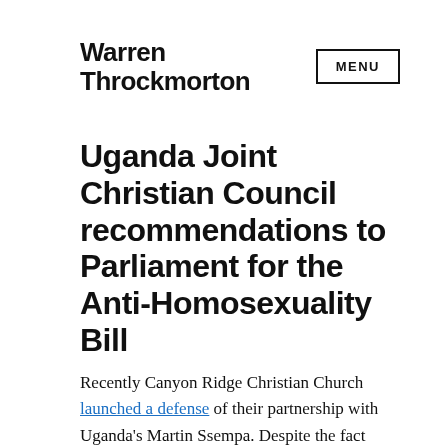Warren Throckmorton
Uganda Joint Christian Council recommendations to Parliament for the Anti-Homosexuality Bill
Recently Canyon Ridge Christian Church launched a defense of their partnership with Uganda's Martin Ssempa. Despite the fact that Willow Creek Association expressed regret over